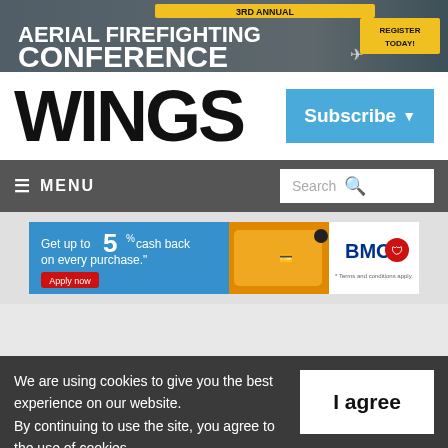[Figure (infographic): Banner advertisement: 3rd Annual Aerial Firefighting Conference - Register Today!]
WINGS
Subscribe
≡ MENU
Search
[Figure (infographic): BMO advertisement: Get up to 5% cash back on every purchase. Apply now. Terms and conditions apply.]
We are using cookies to give you the best experience on our website. By continuing to use the site, you agree to the use of cookies. To find out more, read our privacy policy.
I agree